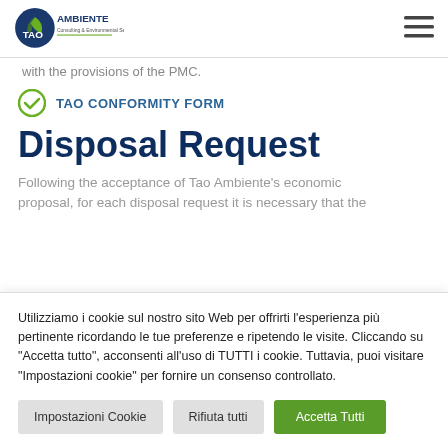TAO Ambiente — navigation header with logo and hamburger menu
with the provisions of the PMC.
TAO CONFORMITY FORM
Disposal Request
Following the acceptance of Tao Ambiente's economic proposal, for each disposal request it is necessary that the
Utilizziamo i cookie sul nostro sito Web per offrirti l'esperienza più pertinente ricordando le tue preferenze e ripetendo le visite. Cliccando su "Accetta tutto", acconsenti all'uso di TUTTI i cookie. Tuttavia, puoi visitare "Impostazioni cookie" per fornire un consenso controllato.